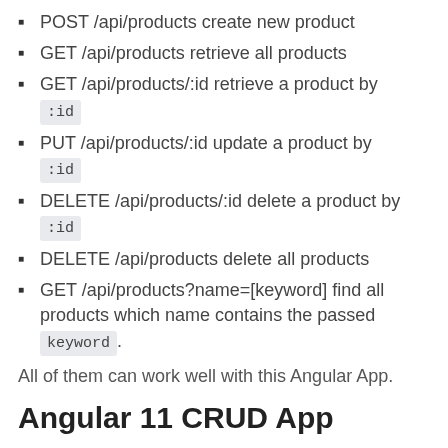POST /api/products create new product
GET /api/products retrieve all products
GET /api/products/:id retrieve a product by :id
PUT /api/products/:id update a product by :id
DELETE /api/products/:id delete a product by :id
DELETE /api/products delete all products
GET /api/products?name=[keyword] find all products which name contains the passed keyword.
All of them can work well with this Angular App.
Angular 11 CRUD App